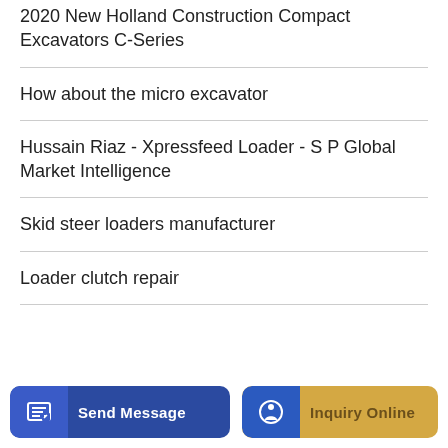2020 New Holland Construction Compact Excavators C-Series
How about the micro excavator
Hussain Riaz - Xpressfeed Loader - S P Global Market Intelligence
Skid steer loaders manufacturer
Loader clutch repair
Send Message | Inquiry Online